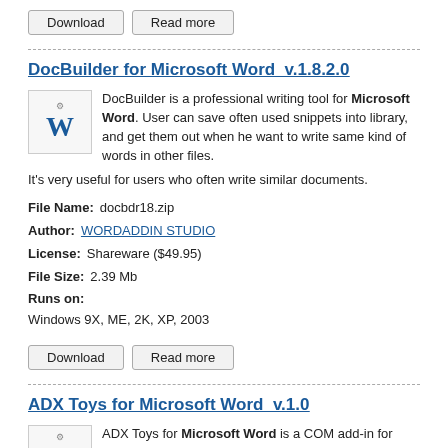Download | Read more (buttons)
DocBuilder for Microsoft Word v.1.8.2.0
DocBuilder is a professional writing tool for Microsoft Word. User can save often used snippets into library, and get them out when he want to write same kind of words in other files. It's very useful for users who often write similar documents.
| Field | Value |
| --- | --- |
| File Name: | docbdr18.zip |
| Author: | WORDADDIN STUDIO |
| License: | Shareware ($49.95) |
| File Size: | 2.39 Mb |
| Runs on: | Windows 9X, ME, 2K, XP, 2003 |
Download | Read more (buttons)
ADX Toys for Microsoft Word v.1.0
ADX Toys for Microsoft Word is a COM add-in for Microsoft Word that adds the syntax highlighting of the selected source code in the current document from many code lists. The add-in is...